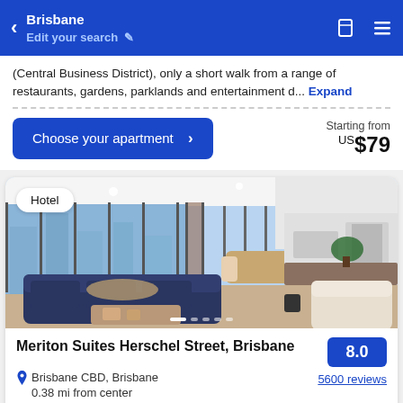Brisbane / Edit your search
(Central Business District), only a short walk from a range of restaurants, gardens, parklands and entertainment d... Expand
Choose your apartment > Starting from US$79
[Figure (photo): Interior photo of a luxury hotel apartment room with large floor-to-ceiling windows showing a city skyline, dark blue sofas, dining area, and open kitchen]
Hotel
Meriton Suites Herschel Street, Brisbane
8.0
Brisbane CBD, Brisbane
0.38 mi from center
5600 reviews